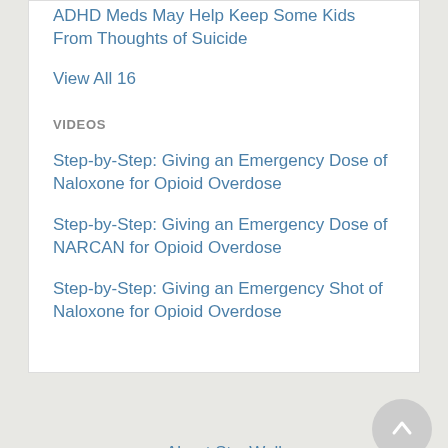ADHD Meds May Help Keep Some Kids From Thoughts of Suicide
View All 16
VIDEOS
Step-by-Step: Giving an Emergency Dose of Naloxone for Opioid Overdose
Step-by-Step: Giving an Emergency Dose of NARCAN for Opioid Overdose
Step-by-Step: Giving an Emergency Shot of Naloxone for Opioid Overdose
About StayWell